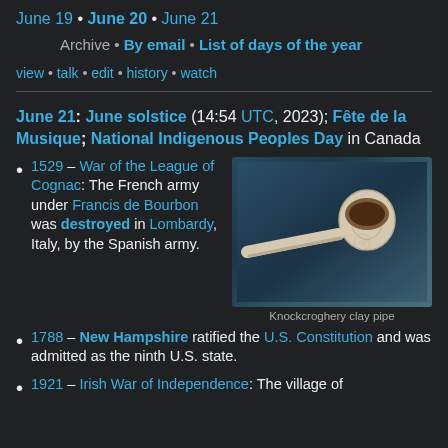June 19 • June 20 • June 21
Archive • By email • List of days of the year
view • talk • edit • history • watch
June 21: June solstice (14:54 UTC, 2023); Fête de la Musique; National Indigenous Peoples Day in Canada
1529 – War of the League of Cognac: The French army under Francis de Bourbon was destroyed in Lombardy, Italy, by the Spanish army.
[Figure (photo): A Knockcroghery clay pipe on a blue textured background]
Knockcroghery clay pipe
1788 – New Hampshire ratified the U.S. Constitution and was admitted as the ninth U.S. state.
1921 – Irish War of Independence: The village of